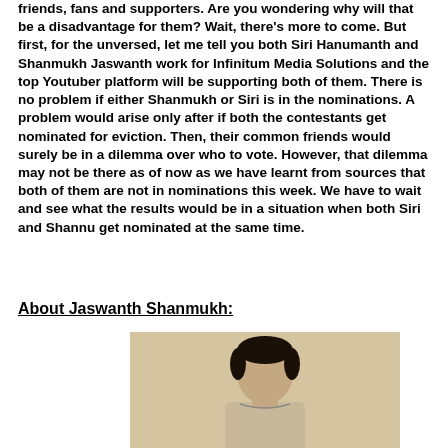friends, fans and supporters. Are you wondering why will that be a disadvantage for them? Wait, there's more to come. But first, for the unversed, let me tell you both Siri Hanumanth and Shanmukh Jaswanth work for Infinitum Media Solutions and the top Youtuber platform will be supporting both of them. There is no problem if either Shanmukh or Siri is in the nominations. A problem would arise only after if both the contestants get nominated for eviction. Then, their common friends would surely be in a dilemma over who to vote. However, that dilemma may not be there as of now as we have learnt from sources that both of them are not in nominations this week. We have to wait and see what the results would be in a situation when both Siri and Shannu get nominated at the same time.
About Jaswanth Shanmukh:
[Figure (photo): Photo of a young man with dark hair, shown from roughly the chest up, against a light beige/cream background. Only the upper portion of the person is visible.]